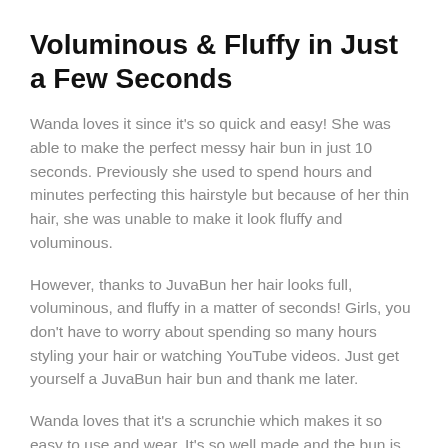Voluminous & Fluffy in Just a Few Seconds
Wanda loves it since it's so quick and easy! She was able to make the perfect messy hair bun in just 10 seconds. Previously she used to spend hours and minutes perfecting this hairstyle but because of her thin hair, she was unable to make it look fluffy and voluminous.
However, thanks to JuvaBun her hair looks full, voluminous, and fluffy in a matter of seconds! Girls, you don't have to worry about spending so many hours styling your hair or watching YouTube videos. Just get yourself a JuvaBun hair bun and thank me later.
Wanda loves that it's a scrunchie which makes it so easy to use and wear. It's so well made and the bun is made out of the highest quality of synthetic heat resistant fibers which guarantee that you'll look like the queen you are!